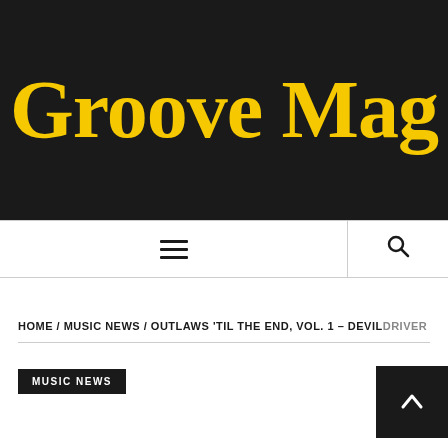Groove Mag
[Figure (other): Navigation bar with hamburger menu icon and search icon]
HOME / MUSIC NEWS / OUTLAWS 'TIL THE END, VOL. 1 – DEVILDRIVER
MUSIC NEWS